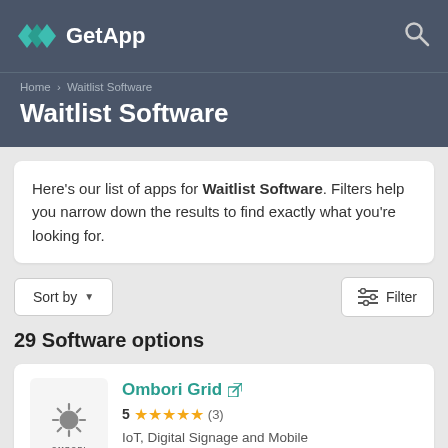GetApp
Home › Waitlist Software
Waitlist Software
Here's our list of apps for Waitlist Software. Filters help you narrow down the results to find exactly what you're looking for.
Sort by ▼
Filter
29 Software options
Ombori Grid ↗
5 ★★★★★ (3)
IoT, Digital Signage and Mobile